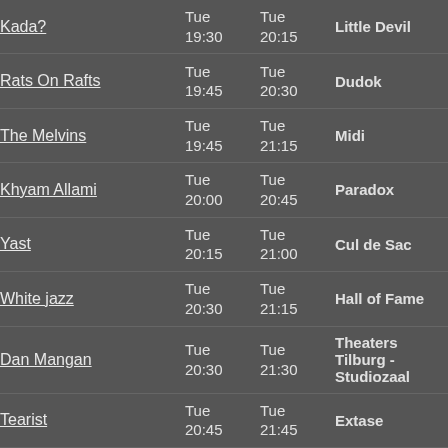| Artist | Start | End | Venue |
| --- | --- | --- | --- |
| Kada? | Tue 19:30 | Tue 20:15 | Little Devil |
| Rats On Rafts | Tue 19:45 | Tue 20:30 | Dudok |
| The Melvins | Tue 19:45 | Tue 21:15 | Midi |
| Khyam Allami | Tue 20:00 | Tue 20:45 | Paradox |
| Yast | Tue 20:15 | Tue 21:00 | Cul de Sac |
| White jazz | Tue 20:30 | Tue 21:15 | Hall of Fame |
| Dan Mangan | Tue 20:30 | Tue 21:30 | Theaters Tilburg - Studiozaal |
| Tearist | Tue 20:45 | Tue 21:45 | Extase |